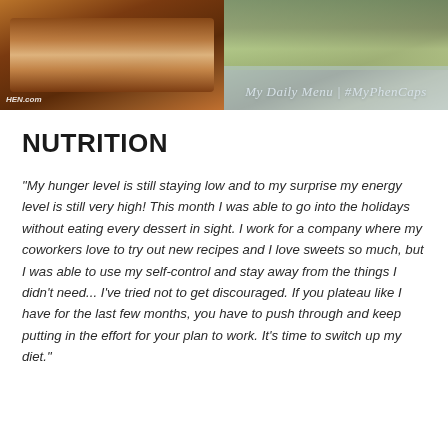[Figure (photo): Two food photos side by side: left shows a baked/grilled dish with tomato sauce, right shows a chicken dish with green vegetables and 'My Daily Menu | #MyPhenCaps' overlay text]
NUTRITION
“My hunger level is still staying low and to my surprise my energy level is still very high! This month I was able to go into the holidays without eating every dessert in sight. I work for a company where my coworkers love to try out new recipes and I love sweets so much, but I was able to use my self-control and stay away from the things I didn’t need... I’ve tried not to get discouraged. If you plateau like I have for the last few months, you have to push through and keep putting in the effort for your plan to work. It’s time to switch up my diet.”